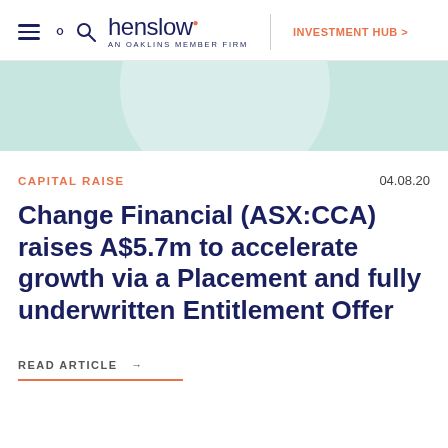henslow · AN OAKLINS MEMBER FIRM · INVESTMENT HUB >
[Figure (illustration): Light teal/green banner with a semi-transparent white circle decorative element]
CAPITAL RAISE
04.08.20
Change Financial (ASX:CCA) raises A$5.7m to accelerate growth via a Placement and fully underwritten Entitlement Offer
READ ARTICLE →